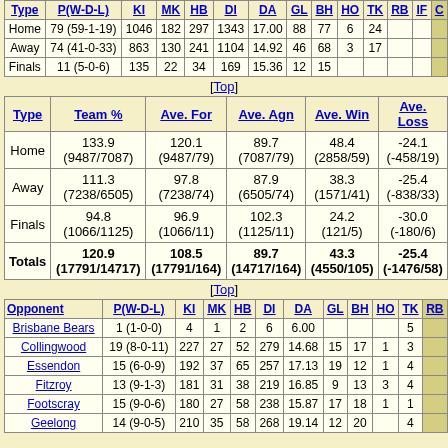| Type | P(W-D-L) | KI | MK | HB | DI | DA | GL | BH | HO | TK | RB | IF | C |
| --- | --- | --- | --- | --- | --- | --- | --- | --- | --- | --- | --- | --- | --- |
| Home | 79 (59-1-19) | 1046 | 182 | 297 | 1343 | 17.00 | 88 | 77 | 6 | 24 |  |  |  |
| Away | 74 (41-0-33) | 863 | 130 | 241 | 1104 | 14.92 | 46 | 68 | 3 | 17 |  |  |  |
| Finals | 11 (5-0-6) | 135 | 22 | 34 | 169 | 15.36 | 12 | 15 |  |  |  |  |  |
[Top]
| Type | Team % | Ave. For | Ave. Agn | Ave. Win | Ave. Loss |
| --- | --- | --- | --- | --- | --- |
| Home | 133.9 (9487/7087) | 120.1 (9487/79) | 89.7 (7087/79) | 48.4 (2858/59) | -24.1 (-458/19) |
| Away | 111.3 (7238/6505) | 97.8 (7238/74) | 87.9 (6505/74) | 38.3 (1571/41) | -25.4 (-838/33) |
| Finals | 94.8 (1066/1125) | 96.9 (1066/11) | 102.3 (1125/11) | 24.2 (121/5) | -30.0 (-180/6) |
| Totals | 120.9 (17791/14717) | 108.5 (17791/164) | 89.7 (14717/164) | 43.3 (4550/105) | -25.4 (-1476/58) |
[Top]
| Opponent | P(W-D-L) | KI | MK | HB | DI | DA | GL | BH | HO | TK | RB |
| --- | --- | --- | --- | --- | --- | --- | --- | --- | --- | --- | --- |
| Brisbane Bears | 1 (1-0-0) | 4 | 1 | 2 | 6 | 6.00 |  |  |  | 5 |  |
| Collingwood | 19 (8-0-11) | 227 | 27 | 52 | 279 | 14.68 | 15 | 17 | 1 | 3 |  |
| Essendon | 15 (6-0-9) | 192 | 37 | 65 | 257 | 17.13 | 19 | 12 | 1 | 4 |  |
| Fitzroy | 13 (9-1-3) | 181 | 31 | 38 | 219 | 16.85 | 9 | 13 | 3 | 4 |  |
| Footscray | 15 (9-0-6) | 180 | 27 | 58 | 238 | 15.87 | 17 | 18 | 1 | 1 |  |
| Geelong | 14 (9-0-5) | 210 | 35 | 58 | 268 | 19.14 | 12 | 20 |  | 4 |  |